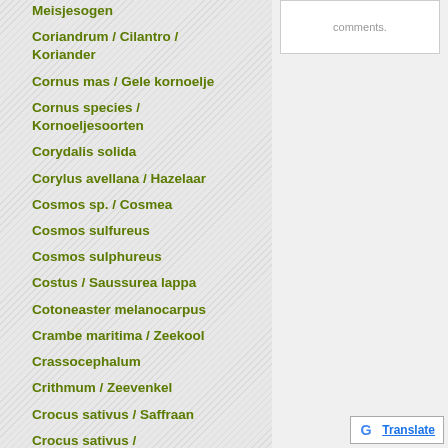comments.
Meisjesogen
Coriandrum / Cilantro / Koriander
Cornus mas / Gele kornoelje
Cornus species / Kornoeljesoorten
Corydalis solida
Corylus avellana / Hazelaar
Cosmos sp. / Cosmea
Cosmos sulfureus
Cosmos sulphureus
Costus / Saussurea lappa
Cotoneaster melanocarpus
Crambe maritima / Zeekool
Crassocephalum
Crithmum / Zeevenkel
Crocus sativus / Saffraan
Crocus sativus / Safraancrocus
Croton lechleri / Dragon's